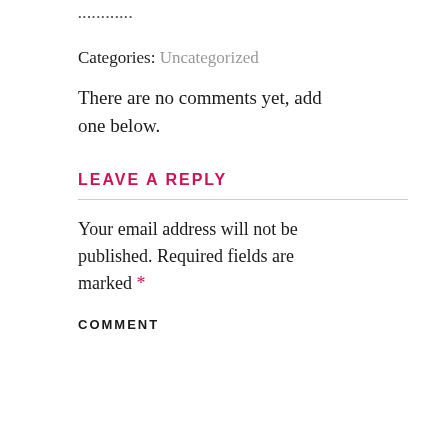...........
Categories: Uncategorized
There are no comments yet, add one below.
LEAVE A REPLY
Your email address will not be published. Required fields are marked *
COMMENT